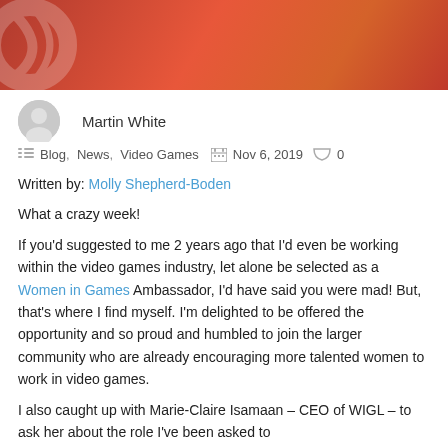[Figure (photo): Hero image with red/orange gradient background and faint decorative overlay pattern on the left side]
Martin White
Blog, News, Video Games  Nov 6, 2019  0
Written by: Molly Shepherd-Boden
What a crazy week!
If you'd suggested to me 2 years ago that I'd even be working within the video games industry, let alone be selected as a Women in Games Ambassador, I'd have said you were mad! But, that's where I find myself. I'm delighted to be offered the opportunity and so proud and humbled to join the larger community who are already encouraging more talented women to work in video games.
I also caught up with Marie-Claire Isamaan – CEO of WIGL – to ask her about the role I've been asked to